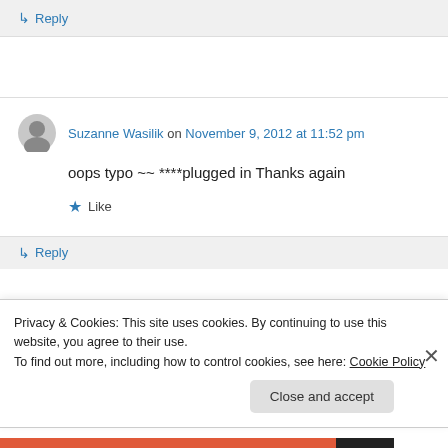↳ Reply
Suzanne Wasilik on November 9, 2012 at 11:52 pm
oops typo ~~ ****plugged in Thanks again
★ Like
↳ Reply
Privacy & Cookies: This site uses cookies. By continuing to use this website, you agree to their use.
To find out more, including how to control cookies, see here: Cookie Policy
Close and accept